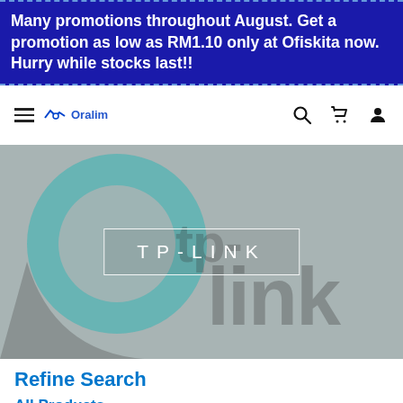Many promotions throughout August. Get a promotion as low as RM1.10 only at Ofiskita now. Hurry while stocks last!!
[Figure (logo): Navigation bar with hamburger menu, Oralim brand logo, and icons for search, cart, and user account]
[Figure (illustration): Hero image showing a blurred TP-LINK logo background (teal and gray) with a white-bordered box containing the text 'TP-LINK' in spaced white letters]
Refine Search
All Products